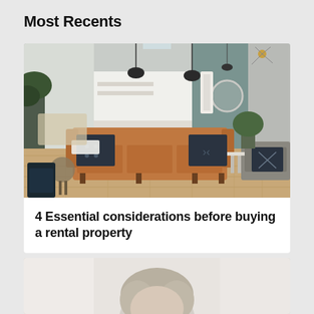Most Recents
[Figure (photo): Interior photo of a modern open-plan living room with a tan/brown leather sofa, dark patterned throw pillows, hardwood floors, pendant lights, kitchen in background, green plants, and grey accent wall.]
4 Essential considerations before buying a rental property
[Figure (photo): Partial photo showing top of a person's head with grey/blonde hair, cropped at bottom of page.]